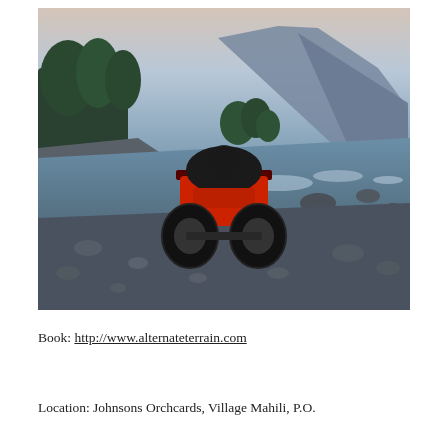[Figure (photo): An ATV (all-terrain vehicle) parked on a rocky riverbank at dusk, facing away from the camera toward a flowing river. Trees line the left bank and a large blue mountain rises in the background. The sky is pale pink and blue at twilight.]
Book: http://www.alternateterrain.com
Location: Johnsons Orchcards, Village Mahili, P.O.